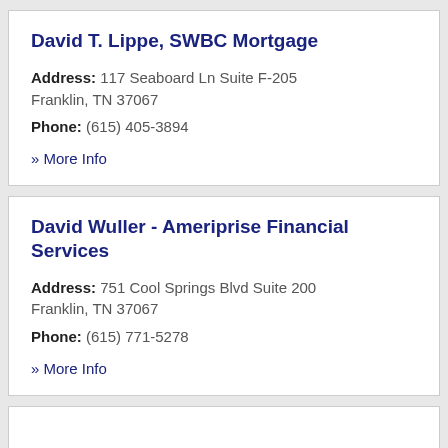David T. Lippe, SWBC Mortgage
Address: 117 Seaboard Ln Suite F-205 Franklin, TN 37067
Phone: (615) 405-3894
» More Info
David Wuller - Ameriprise Financial Services
Address: 751 Cool Springs Blvd Suite 200 Franklin, TN 37067
Phone: (615) 771-5278
» More Info